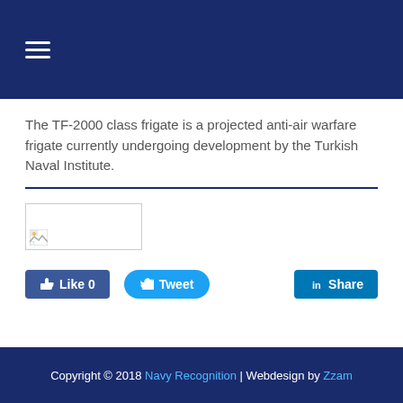☰ (hamburger menu)
The TF-2000 class frigate is a projected anti-air warfare frigate currently undergoing development by the Turkish Naval Institute.
[Figure (photo): Broken image placeholder thumbnail]
👍 Like 0   Tweet   in Share
Copyright © 2018 Navy Recognition | Webdesign by Zzam